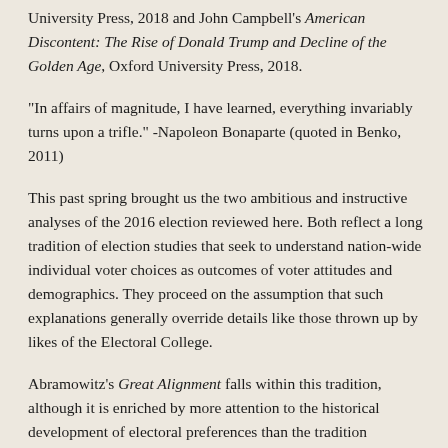University Press, 2018 and John Campbell's American Discontent: The Rise of Donald Trump and Decline of the Golden Age, Oxford University Press, 2018.
"In affairs of magnitude, I have learned, everything invariably turns upon a trifle." -Napoleon Bonaparte (quoted in Benko, 2011)
This past spring brought us the two ambitious and instructive analyses of the 2016 election reviewed here. Both reflect a long tradition of election studies that seek to understand nation-wide individual voter choices as outcomes of voter attitudes and demographics. They proceed on the assumption that such explanations generally override details like those thrown up by likes of the Electoral College.
Abramowitz's Great Alignment falls within this tradition, although it is enriched by more attention to the historical development of electoral preferences than the tradition